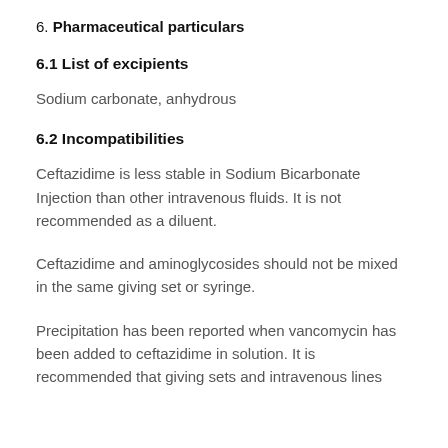6. Pharmaceutical particulars
6.1 List of excipients
Sodium carbonate, anhydrous
6.2 Incompatibilities
Ceftazidime is less stable in Sodium Bicarbonate Injection than other intravenous fluids. It is not recommended as a diluent.
Ceftazidime and aminoglycosides should not be mixed in the same giving set or syringe.
Precipitation has been reported when vancomycin has been added to ceftazidime in solution. It is recommended that giving sets and intravenous lines